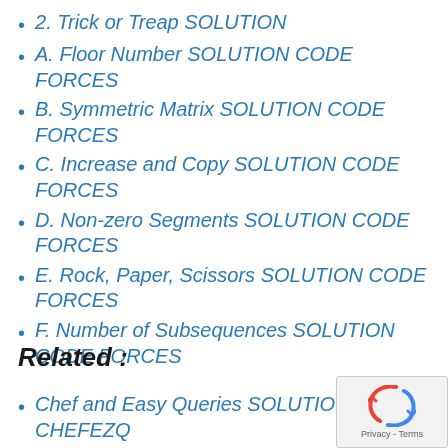2. Trick or Treap SOLUTION
A. Floor Number SOLUTION CODE FORCES
B. Symmetric Matrix SOLUTION CODE FORCES
C. Increase and Copy SOLUTION CODE FORCES
D. Non-zero Segments SOLUTION CODE FORCES
E. Rock, Paper, Scissors SOLUTION CODE FORCES
F. Number of Subsequences SOLUTION CODE FORCES
Related :
Chef and Easy Queries SOLUTIONS CHEFEZQ